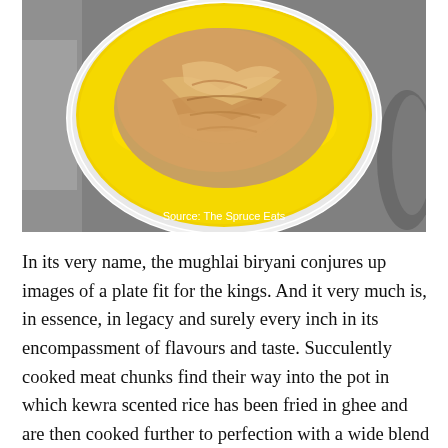[Figure (photo): Top-down photograph of a bowl of mughlai biryani with bright yellow saffron rice and caramelized onions on top, set against a grey/grayscale background. Source caption reads 'Source: The Spruce Eats'.]
Source: The Spruce Eats
In its very name, the mughlai biryani conjures up images of a plate fit for the kings. And it very much is, in essence, in legacy and surely every inch in its encompassment of flavours and taste. Succulently cooked meat chunks find their way into the pot in which kewra scented rice has been fried in ghee and are then cooked further to perfection with a wide blend of spices. Brought into the country by the erstwhile Mughal rulers, this seemingly regal dish delivers delectable delicious…